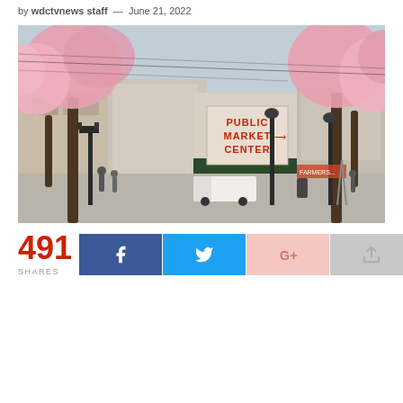by wdctvnews staff — June 21, 2022
[Figure (photo): Street view of Pike Place Public Market Center in Seattle with cherry blossom trees in bloom framing the scene. The iconic red PUBLIC MARKET CENTER sign is visible. Street lamps, pedestrians, and a white van are in the foreground.]
491 SHARES — Facebook, Twitter, Google+, Share buttons